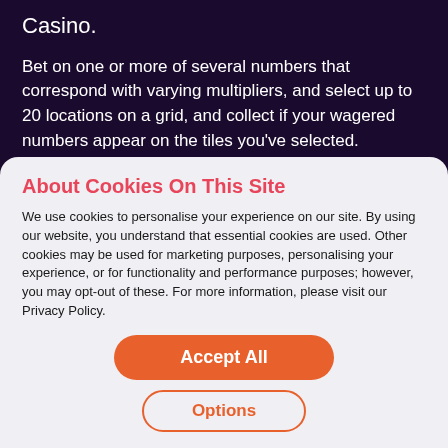Casino.
Bet on one or more of several numbers that correspond with varying multipliers, and select up to 20 locations on a grid, and collect if your wagered numbers appear on the tiles you've selected.
We are offering up a $10,000 prize pool to celebrate this early release at Wheelz and its sister brands.
About Cookies On This Site
We use cookies to personalise your experience on our site. By using our website, you understand that essential cookies are used. Other cookies may be used for marketing purposes, personalising your experience, or for functionality and performance purposes; however, you may opt-out of these. For more information, please visit our Privacy Policy.
Accept All
Options